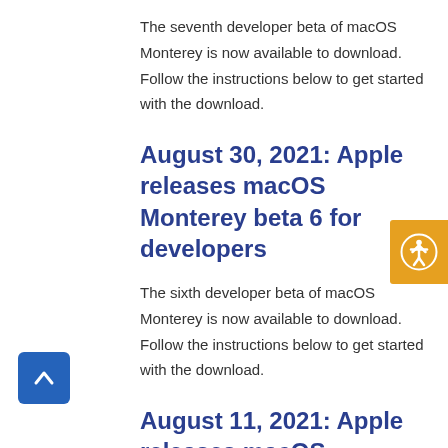The seventh developer beta of macOS Monterey is now available to download. Follow the instructions below to get started with the download.
August 30, 2021: Apple releases macOS Monterey beta 6 for developers
The sixth developer beta of macOS Monterey is now available to download. Follow the instructions below to get started with the download.
August 11, 2021: Apple releases macOS Monterey beta 5 for developers
The fifth developer beta of macOS Monterey is now available to download. Follow the instructions below to get started with the download.